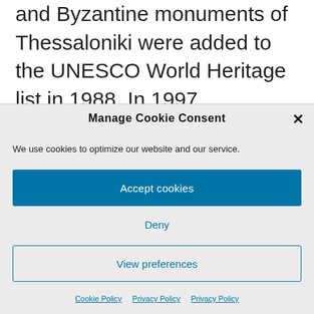and Byzantine monuments of Thessaloniki were added to the UNESCO World Heritage list in 1988. In 1997, Thessaloniki was celebrated as the European Capital of Culture, sponsoring events across the city and the region, while in 2004 the city hosted several the football events as part of the 2004 Summer
Manage Cookie Consent
We use cookies to optimize our website and our service.
Accept cookies
Deny
View preferences
Cookie Policy   Privacy Policy   Privacy Policy